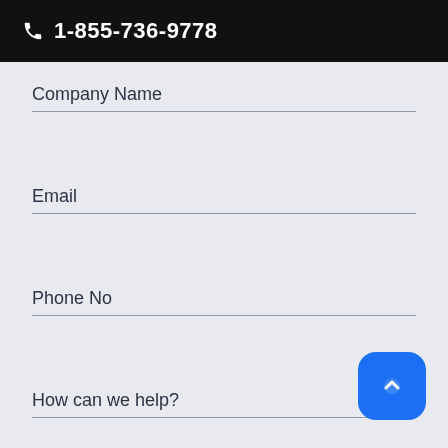1-855-736-9778
Company Name
Email
Phone No
How can we help?
[Figure (other): Blue rounded square button with upward chevron arrow icon]